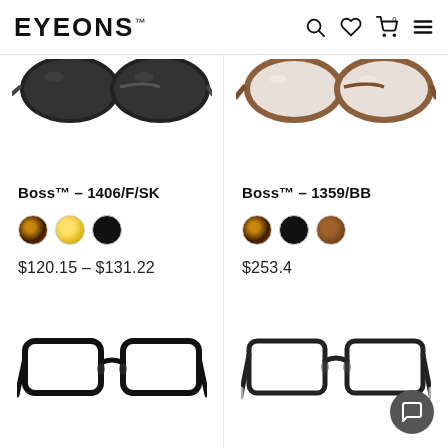EYEONS™
[Figure (photo): Top half of two sunglasses frames: left pair with dark lenses (Boss 1406/F/SK), right pair with brown/clear frames (Boss 1359/BB)]
Boss™ – 1406/F/SK
[Figure (infographic): Three color swatches: tortoise, gold, black]
$120.15 – $131.22
Boss™ – 1359/BB
[Figure (infographic): Three color swatches: tortoise, black, brown]
$253.4
[Figure (photo): Black rectangular eyeglasses frames, front view, no lenses (left product)]
[Figure (photo): Black rectangular eyeglasses frames with silver temple tips, front view (right product)]